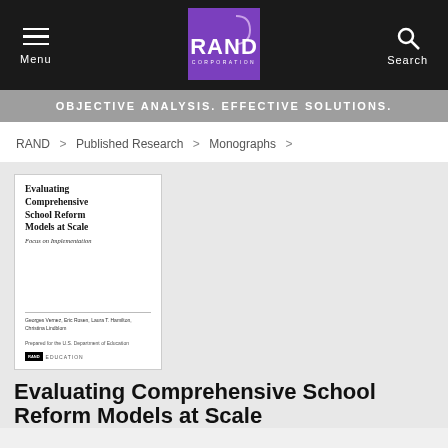Menu | RAND CORPORATION | Search
OBJECTIVE ANALYSIS. EFFECTIVE SOLUTIONS.
RAND > Published Research > Monographs >
[Figure (illustration): Book cover for 'Evaluating Comprehensive School Reform Models at Scale: Focus on Implementation' published by RAND Education, prepared for the U.S. Department of Education. Authors: Georges Vernez, Eric Rosen, Laura S. Hamilton, Christina Lindblom.]
Evaluating Comprehensive School Reform Models at Scale